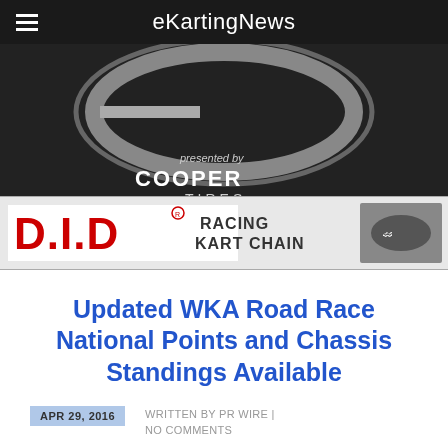eKartingNews
[Figure (logo): eKartingNews logo presented by Cooper Tires — large stylized 'E' emblem on dark background with 'presented by COOPER TIRES' text]
[Figure (logo): D.I.D Racing Kart Chain banner advertisement with red DID logo and kart racing photo]
Updated WKA Road Race National Points and Chassis Standings Available
APR 29, 2016
WRITTEN BY PR WIRE | NO COMMENTS
[Figure (logo): World Karting Association (WKA) circular logo with Dunlop branding]
With 2 races in the books for the